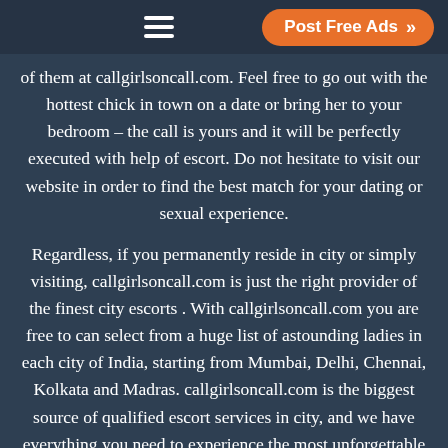Post Free Ads
of them at callgirlsoncall.com. Feel free to go out with the hottest chick in town on a date or bring her to your bedroom – the call is yours and it will be perfectly executed with help of escort. Do not hesitate to visit our website in order to find the best match for your dating or sexual experience.
Regardless, if you permanently reside in city or simply visiting, callgirlsoncall.com is just the right provider of the finest city escorts . With callgirlsoncall.com you are free to can select from a huge list of astounding ladies in each city of India, starting from Mumbai, Delhi, Chennai, Kolkata and Madras. callgirlsoncall.com is the biggest source of qualified escort services in city, and we have everything you need to experience the most unforgettable night of your entire life! Visit our website without any hesitation and check out the biggest and most impressive adult directory you've ever seen.